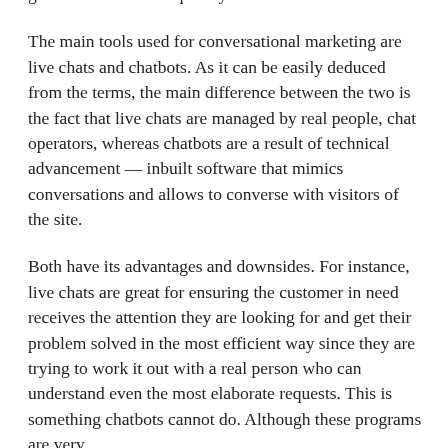generation and subsequently sales.
The main tools used for conversational marketing are live chats and chatbots. As it can be easily deduced from the terms, the main difference between the two is the fact that live chats are managed by real people, chat operators, whereas chatbots are a result of technical advancement — inbuilt software that mimics conversations and allows to converse with visitors of the site.
Both have its advantages and downsides. For instance, live chats are great for ensuring the customer in need receives the attention they are looking for and get their problem solved in the most efficient way since they are trying to work it out with a real person who can understand even the most elaborate requests. This is something chatbots cannot do. Although these programs are very